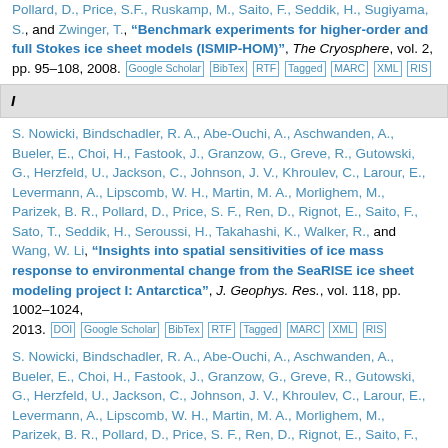Pollard, D., Price, S.F., Ruskamp, M., Saito, F., Seddik, H., Sugiyama, S., and Zwinger, T., "Benchmark experiments for higher-order and full Stokes ice sheet models (ISMIP-HOM)", The Cryosphere, vol. 2, pp. 95–108, 2008. [Google Scholar] [BibTex] [RTF] [Tagged] [MARC] [XML] [RIS]
I
S. Nowicki, Bindschadler, R. A., Abe-Ouchi, A., Aschwanden, A., Bueler, E., Choi, H., Fastook, J., Granzow, G., Greve, R., Gutowski, G., Herzfeld, U., Jackson, C., Johnson, J. V., Khroulev, C., Larour, E., Levermann, A., Lipscomb, W. H., Martin, M. A., Morlighem, M., Parizek, B. R., Pollard, D., Price, S. F., Ren, D., Rignot, E., Saito, F., Sato, T., Seddik, H., Seroussi, H., Takahashi, K., Walker, R., and Wang, W. Li, "Insights into spatial sensitivities of ice mass response to environmental change from the SeaRISE ice sheet modeling project I: Antarctica", J. Geophys. Res., vol. 118, pp. 1002–1024, 2013. [DOI] [Google Scholar] [BibTex] [RTF] [Tagged] [MARC] [XML] [RIS]
S. Nowicki, Bindschadler, R. A., Abe-Ouchi, A., Aschwanden, A., Bueler, E., Choi, H., Fastook, J., Granzow, G., Greve, R., Gutowski, G., Herzfeld, U., Jackson, C., Johnson, J. V., Khroulev, C., Larour, E., Levermann, A., Lipscomb, W. H., Martin, M. A., Morlighem, M., Parizek, B. R., Pollard, D., Price, S. F., Ren, D., Rignot, E., Saito, F., Sato, T., Seddik, H., Seroussi, H., Takahashi, K., Walker, R., and Wang, W. Li, "Insights into spatial